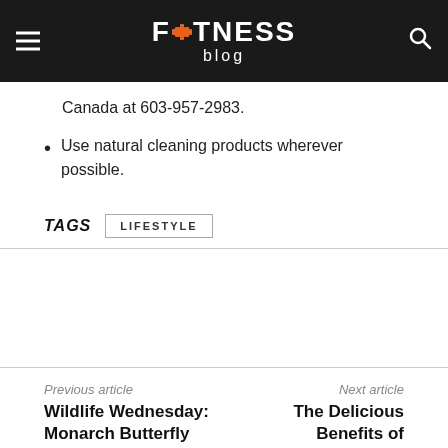FITNESS blog
Canada at 603-957-2983.
Use natural cleaning products wherever possible.
TAGS  LIFESTYLE
Previous article  Wildlife Wednesday: Monarch Butterfly
Next article  The Delicious Benefits of Lemons